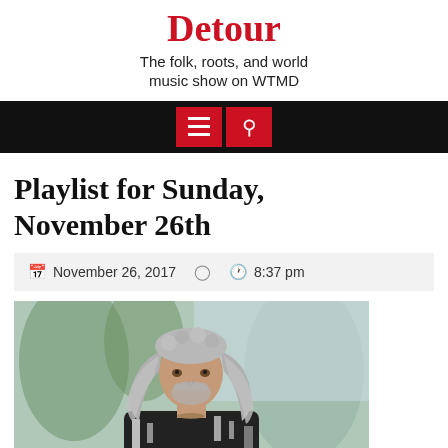Detour
The folk, roots, and world music show on WTMD
[Figure (screenshot): Navigation bar with dark background, hamburger menu button and search button in red]
Playlist for Sunday, November 26th
November 26, 2017   8:37 pm
[Figure (photo): A man with long curly grey hair and a beard wearing a black and white patterned shirt, photographed outdoors with trees in the background]